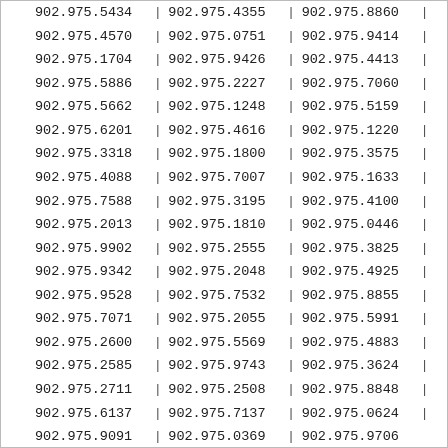| 902.975.5434 | | | 902.975.4355 | | | 902.975.8860 | | |
| 902.975.4570 | | | 902.975.0751 | | | 902.975.9414 | | |
| 902.975.1704 | | | 902.975.9426 | | | 902.975.4413 | | |
| 902.975.5886 | | | 902.975.2227 | | | 902.975.7060 | | |
| 902.975.5662 | | | 902.975.1248 | | | 902.975.5159 | | |
| 902.975.6201 | | | 902.975.4616 | | | 902.975.1220 | | |
| 902.975.3318 | | | 902.975.1800 | | | 902.975.3575 | | |
| 902.975.4088 | | | 902.975.7007 | | | 902.975.1633 | | |
| 902.975.7588 | | | 902.975.3195 | | | 902.975.4100 | | |
| 902.975.2013 | | | 902.975.1810 | | | 902.975.0446 | | |
| 902.975.9902 | | | 902.975.2555 | | | 902.975.3825 | | |
| 902.975.9342 | | | 902.975.2048 | | | 902.975.4925 | | |
| 902.975.9528 | | | 902.975.7532 | | | 902.975.8855 | | |
| 902.975.7071 | | | 902.975.2055 | | | 902.975.5991 | | |
| 902.975.2600 | | | 902.975.5569 | | | 902.975.4883 | | |
| 902.975.2585 | | | 902.975.9743 | | | 902.975.3624 | | |
| 902.975.2711 | | | 902.975.2508 | | | 902.975.8848 | | |
| 902.975.6137 | | | 902.975.7137 | | | 902.975.0624 | | |
| 902.975.9091 | | | 902.975.0369 | | | 902.975.9706 |  |